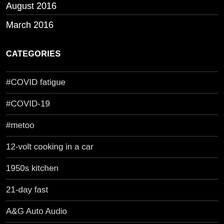August 2016
March 2016
CATEGORIES
#COVID fatigue
#COVID-19
#metoo
12-volt cooking in a car
1950s kitchen
21-day fast
A&G Auto Audio
Acceptance of others